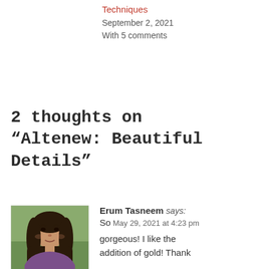Techniques
September 2, 2021
With 5 comments
2 thoughts on “Altenew: Beautiful Details”
Erum Tasneem says:
So May 29, 2021 at 4:23 pm
gorgeous! I like the addition of gold! Thank you for submitting your work to the AECP assignment gallery.
[Figure (photo): Profile photo of Erum Tasneem, a woman with long dark hair]